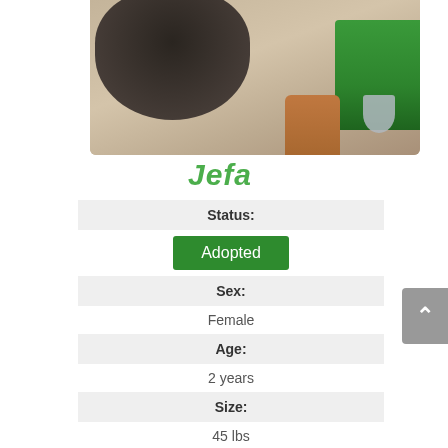[Figure (photo): Close-up photo of a dog's nose sniffing the ground with pebbles/rocks visible, wearing a green collar with a tag. Dog appears to have brown fur.]
Jefa
| Status: | Adopted |
| Sex: | Female |
| Age: | 2 years |
| Size: | 45 lbs |
| Fun Fact: | So fast!!! |
| Foster Location: | TBD |